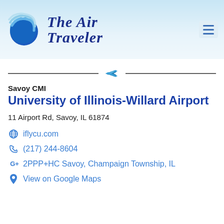[Figure (logo): The Air Traveler logo with globe icon and italic serif text]
[Figure (other): Horizontal divider line with airplane icon in center]
Savoy CMI
University of Illinois-Willard Airport
11 Airport Rd, Savoy, IL 61874
iflycu.com
(217) 244-8604
2PPP+HC Savoy, Champaign Township, IL
View on Google Maps